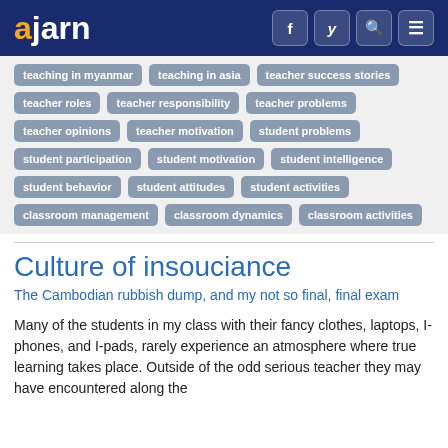ajarn
teaching in myanmar
teaching in asia
teacher success stories
teacher roles
teacher responsibility
teacher problems
teacher opinions
teacher motivation
student problems
student participation
student motivation
student intelligence
student behavior
student attitudes
student activities
classroom management
classroom dynamics
classroom activities
Culture of insouciance
The Cambodian rubbish dump, and my not so final, final exam
Many of the students in my class with their fancy clothes, laptops, I-phones, and I-pads, rarely experience an atmosphere where true learning takes place. Outside of the odd serious teacher they may have encountered along the